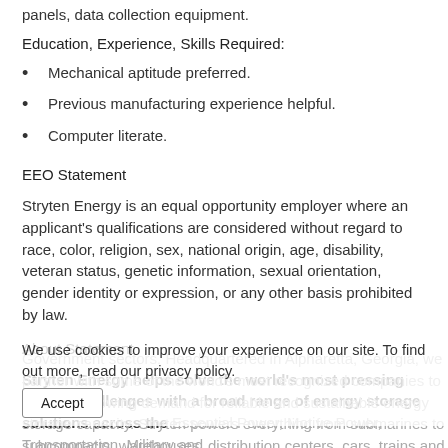panels, data collection equipment.
Education, Experience, Skills Required:
Mechanical aptitude preferred.
Previous manufacturing experience helpful.
Computer literate.
EEO Statement
Stryten Energy is an equal opportunity employer where an applicant's qualifications are considered without regard to race, color, religion, sex, national origin, age, disability, veteran status, genetic information, sexual orientation, gender identity or expression, or any other basis prohibited by law.
About Statement
Stryten Energy helps solve the world’s most pressing energy challenges with a broad range of energy storage solutions across the Essential Power, Motive Power, Transportation, Military and Government sectors. Headquartered in Alpharetta, Georgia, we partner with some of the world’s most recognized companies to meet the growing demand for reliable and sustainable energy storage capacity. Stryten powers everything from submarines to subcompacts, warehouses, distribution centers, cars, trains and
We use cookies to improve your experience on our site. To find out more, read our privacy policy.